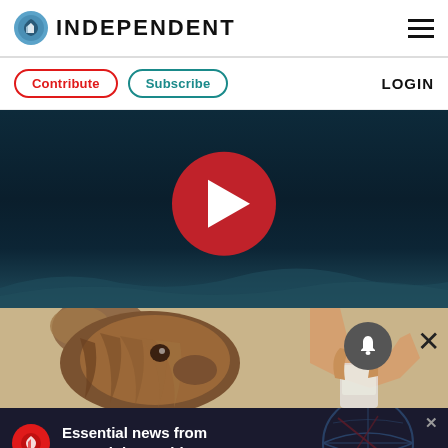INDEPENDENT
[Figure (screenshot): Independent newspaper website header with logo (eagle icon) and hamburger menu]
[Figure (screenshot): Navigation bar with Contribute button (red border), Subscribe button (teal border), and LOGIN text]
[Figure (screenshot): Video player with dark underwater background and large red play button circle]
[Figure (illustration): Illustration of a shaggy brown dog with a human hand holding a glass, with notification bell and X close button]
[Figure (screenshot): Advertisement banner: Essential news from around the world, with Independent logo and world map graphic]